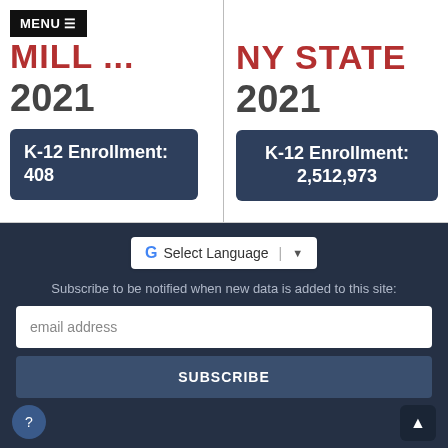MENU
RED MILL ...
2021
K-12 Enrollment: 408
NY STATE
2021
K-12 Enrollment: 2,512,973
Select Language
Subscribe to be notified when new data is added to this site:
email address
SUBSCRIBE